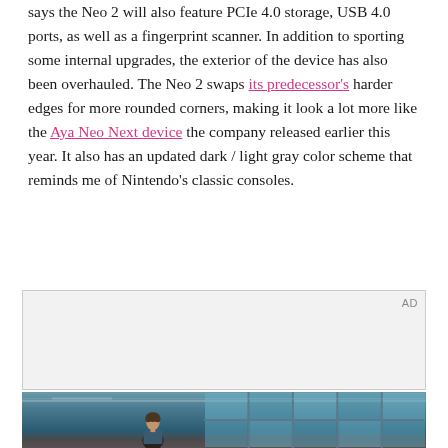says the Neo 2 will also feature PCIe 4.0 storage, USB 4.0 ports, as well as a fingerprint scanner. In addition to sporting some internal upgrades, the exterior of the device has also been overhauled. The Neo 2 swaps its predecessor's harder edges for more rounded corners, making it look a lot more like the Aya Neo Next device the company released earlier this year. It also has an updated dark / light gray color scheme that reminds me of Nintendo's classic consoles.
[Figure (other): Advertisement placeholder box with 'AD' label, followed by a photo of a young man standing in front of a building with large blue-tinted windows and a teal ceiling.]